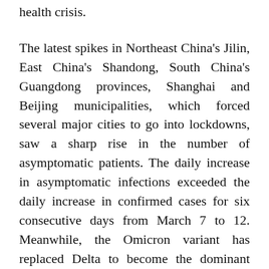health crisis.
The latest spikes in Northeast China's Jilin, East China's Shandong, South China's Guangdong provinces, Shanghai and Beijing municipalities, which forced several major cities to go into lockdowns, saw a sharp rise in the number of asymptomatic patients. The daily increase in asymptomatic infections exceeded the daily increase in confirmed cases for six consecutive days from March 7 to 12. Meanwhile, the Omicron variant has replaced Delta to become the dominant strain, once again breaching the country's defenses by spreading from campus to community.
However, compared with the situation when the first round of COVID-19 outbreaks, initially reported in